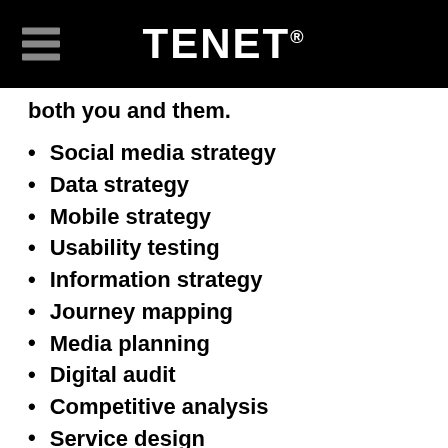TENET®
both you and them.
Social media strategy
Data strategy
Mobile strategy
Usability testing
Information strategy
Journey mapping
Media planning
Digital audit
Competitive analysis
Service design
SEO strategy